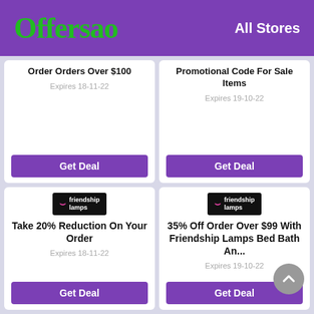Offersao — All Stores
Order Orders Over $100
Expires 18-11-22
Get Deal
Promotional Code For Sale Items
Expires 19-10-22
Get Deal
[Figure (logo): Friendship Lamps logo on black background]
Take 20% Reduction On Your Order
Expires 18-11-22
Get Deal
[Figure (logo): Friendship Lamps logo on black background]
35% Off Order Over $99 With Friendship Lamps Bed Bath An...
Expires 19-10-22
Get Deal